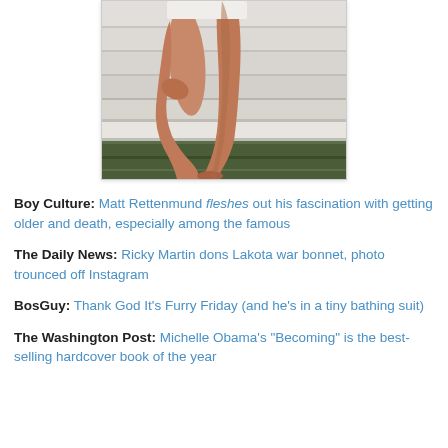[Figure (photo): Photo of a person's bare legs and feet, standing on wooden steps or a dock, wearing white shorts, with a light-colored wall or railing in the background.]
Boy Culture: Matt Rettenmund fleshes out his fascination with getting older and death, especially among the famous
The Daily News: Ricky Martin dons Lakota war bonnet, photo trounced off Instagram
BosGuy: Thank God It's Furry Friday (and he's in a tiny bathing suit)
The Washington Post: Michelle Obama's "Becoming" is the best-selling hardcover book of the year